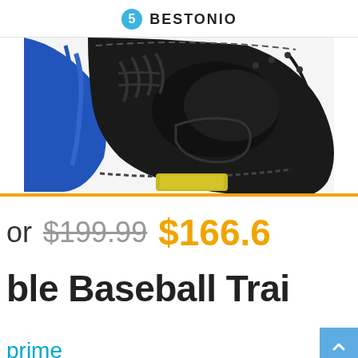BESTONIO
[Figure (photo): Close-up photo of a black and blue baseball glove/mitt with yellow padding visible at the base, showing the webbing and stitching details.]
or $199.99 $166.6
ble Baseball Trai
[Figure (logo): Amazon Prime logo (partial, showing lower portion)]